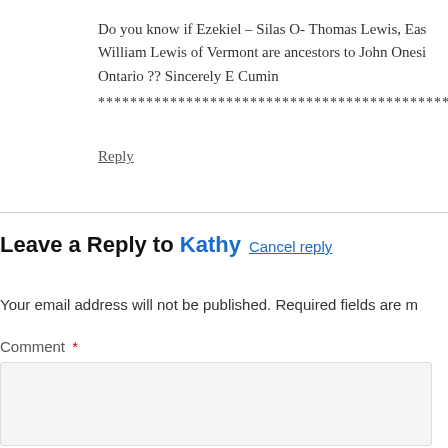Do you know if Ezekiel – Silas O- Thomas Lewis, Eas William Lewis of Vermont are ancestors to John Onesi Ontario ?? Sincerely E Cumin
***********************************************
Reply
Leave a Reply to Kathy  Cancel reply
Your email address will not be published. Required fields are m
Comment *